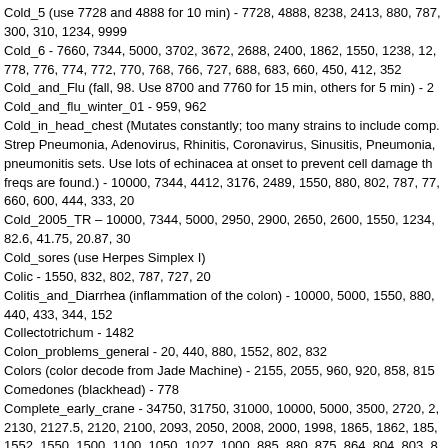Cold_5 (use 7728 and 4888 for 10 min) - 7728, 4888, 8238, 2413, 880, 787, 300, 310, 1234, 9999
Cold_6 - 7660, 7344, 5000, 3702, 3672, 2688, 2400, 1862, 1550, 1238, 12, 778, 776, 774, 772, 770, 768, 766, 727, 688, 683, 660, 450, 412, 352
Cold_and_Flu (fall, 98. Use 8700 and 7760 for 15 min, others for 5 min) - 2
Cold_and_flu_winter_01 - 959, 962
Cold_in_head_chest (Mutates constantly; too many strains to include comp. Strep Pneumonia, Adenovirus, Rhinitis, Coronavirus, Sinusitis, Pneumonia, pneumonitis sets. Use lots of echinacea at onset to prevent cell damage th freqs are found.) - 10000, 7344, 4412, 3176, 2489, 1550, 880, 802, 787, 77, 660, 600, 444, 333, 20
Cold_2005_TR – 10000, 7344, 5000, 2950, 2900, 2650, 2600, 1550, 1234, 82.6, 41.75, 20.87, 30
Cold_sores (use Herpes Simplex I)
Colic - 1550, 832, 802, 787, 727, 20
Colitis_and_Diarrhea (inflammation of the colon) - 10000, 5000, 1550, 880, 440, 433, 344, 152
Collectotrichum - 1482
Colon_problems_general - 20, 440, 880, 1552, 802, 832
Colors (color decode from Jade Machine) - 2155, 2055, 960, 920, 858, 815
Comedones (blackhead) - 778
Complete_early_crane - 34750, 31750, 31000, 10000, 5000, 3500, 2720, 2, 2130, 2127.5, 2120, 2100, 2093, 2050, 2008, 2000, 1998, 1865, 1862, 185, 1552, 1550, 1500, 1100, 1050, 1027, 1000, 885, 880, 875, 864, 804, 803, 8, 776, 775, 770, 764, 740, 730, 727.5, 725, 712, 700, 690, 676, 666, 664, 66, 450, 440, 432, 428, 423, 400, 304, 250, 240, 162, 160, 125, 121, 120, 100, 36, 30, 28, 26, 22, 20, 18, 15, 14, 13, 10, 9, 8, 7, 5.5, 5, 4, 3.5, 1.8, 1
Complete_early_rife - 10000, 5000, 3500, 2489, 2250, 2127.5, 2093, 2008, 1570, 1560, 1550, 1500, 880, 802, 800, 787, 784, 776, 740, 727.5, 660, 65, 400, 250, 125, 120, 100, 80, 60, 20
Condylomata (usually venereal warts, caused by papilloma virus. Occur to